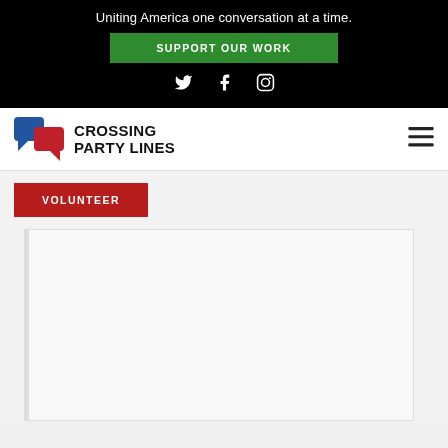Uniting America one conversation at a time.
SUPPORT OUR WORK
[Figure (other): Social media icons: Twitter, Facebook, Instagram]
[Figure (logo): Crossing Party Lines logo with blue and red speech bubble icons and bold text]
[Figure (other): Hamburger menu icon]
VOLUNTEER
[Figure (other): Embedded form or content block placeholder]